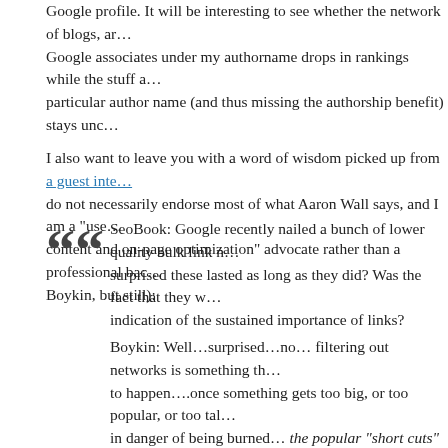Google profile. It will be interesting to see whether the network of blogs, ar... Google associates under my authorname drops in rankings while the stuff a... particular author name (and thus missing the authorship benefit) stays unc...
I also want to leave you with a word of wisdom picked up from a guest inte... do not necessarily endorse most of what Aaron Wall says, and I am a “use... content and on-page optimization” advocate rather than a professional bac... Boykin, but still):
SeoBook: Google recently nailed a bunch of lower quality bulk link n... surprised these lasted as long as they did? Was the fact that they w... indication of the sustained importance of links?
Boykin: Well…surprised…no… filtering out networks is something th... to happen….once something gets too big, or too popular, or too tal... in danger of being burned… the popular “short cuts” of today are the... networks of tomorrow.
Emphasis mine. They’re talking about BuildMyRank and other link/blog net... sixed by a recent Google penalty, but the wider message is a Google varia... Syndrome: various tricks will work for a while to draw traffic, boost lensrank... any sphere where success is measured by a computer algorithm, but once... strategy for gaming the system becomes popular, then, sooner or later...